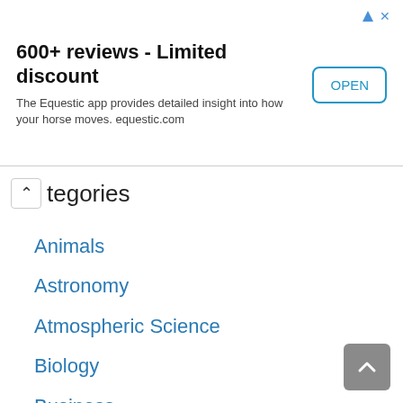[Figure (screenshot): Advertisement banner for Equestic app: '600+ reviews - Limited discount', with subtitle 'The Equestic app provides detailed insight into how your horse moves. equestic.com', and an OPEN button on the right, plus ad icons (arrow and X) in the top-right corner.]
Categories
Animals
Astronomy
Atmospheric Science
Biology
Business
Cell Biology
Ecology
Education